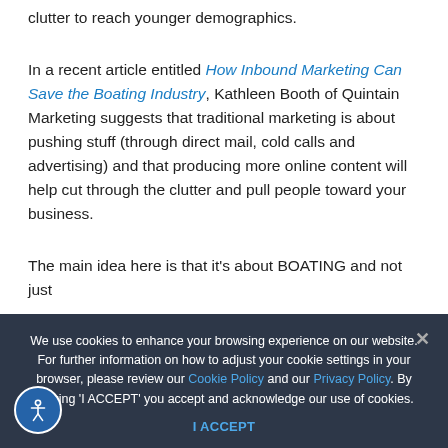clutter to reach younger demographics.
In a recent article entitled How Inbound Marketing Can Save the Boating Industry, Kathleen Booth of Quintain Marketing suggests that traditional marketing is about pushing stuff (through direct mail, cold calls and advertising) and that producing more online content will help cut through the clutter and pull people toward your business.
The main idea here is that it's about BOATING and not just
We use cookies to enhance your browsing experience on our website. For further information on how to adjust your cookie settings in your browser, please review our Cookie Policy and our Privacy Policy. By clicking 'I ACCEPT' you accept and acknowledge our use of cookies.
I ACCEPT